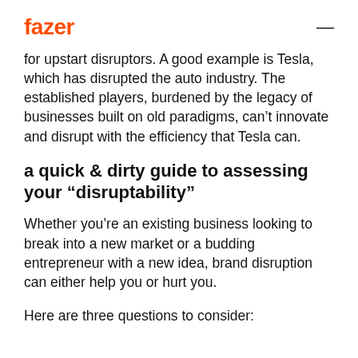fazer —
for upstart disruptors. A good example is Tesla, which has disrupted the auto industry. The established players, burdened by the legacy of businesses built on old paradigms, can't innovate and disrupt with the efficiency that Tesla can.
a quick & dirty guide to assessing your “disruptability”
Whether you’re an existing business looking to break into a new market or a budding entrepreneur with a new idea, brand disruption can either help you or hurt you.
Here are three questions to consider: